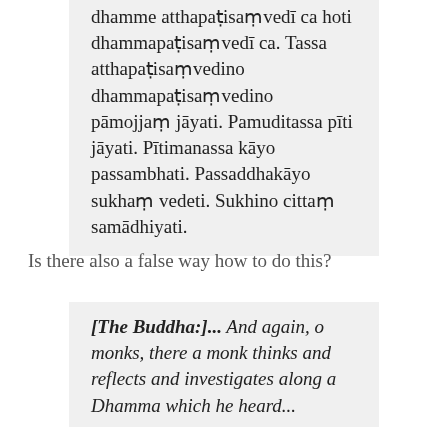dhamme atthapaṭisaṃvedī ca hoti dhammapaṭisaṃvedī ca. Tassa atthapaṭisaṃvedino dhammapaṭisaṃvedino pāmojjaṃ jāyati. Pamuditassa pīti jāyati. Pītimanassa kāyo passambhati. Passaddhakāyo sukhaṃ vedeti. Sukhino cittaṃ samādhiyati.
Is there also a false way how to do this?
[The Buddha:]... And again, o monks, there a monk thinks and reflects and investigates along a Dhamma which he heard...